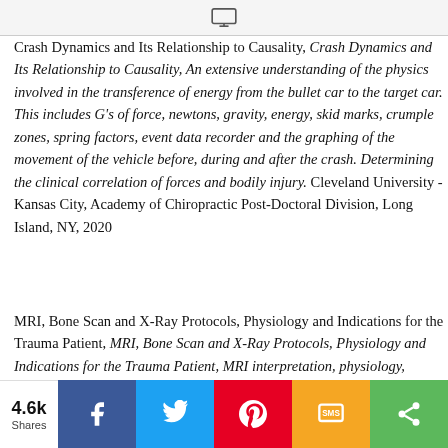[Figure (screenshot): Monitor/screen icon in a light gray header bar]
Crash Dynamics and Its Relationship to Causality, Crash Dynamics and Its Relationship to Causality, An extensive understanding of the physics involved in the transference of energy from the bullet car to the target car. This includes G's of force, newtons, gravity, energy, skid marks, crumple zones, spring factors, event data recorder and the graphing of the movement of the vehicle before, during and after the crash. Determining the clinical correlation of forces and bodily injury. Cleveland University - Kansas City, Academy of Chiropractic Post-Doctoral Division, Long Island, NY, 2020
MRI, Bone Scan and X-Ray Protocols, Physiology and Indications for the Trauma Patient, MRI, Bone Scan and X-Ray Protocols, Physiology and Indications for the Trauma Patient, MRI interpretation, physiology, history and clinical indications,
4.6k Shares  Facebook  Twitter  Pinterest  SMS  Share